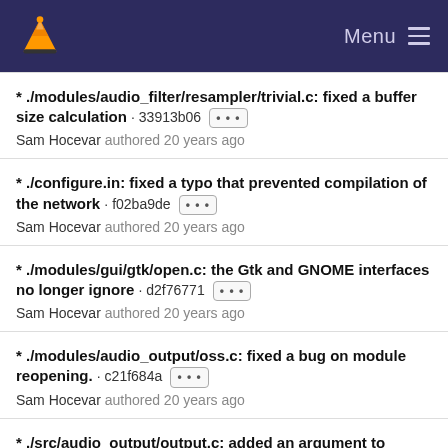VLC Menu
* ./modules/audio_filter/resampler/trivial.c: fixed a buffer size calculation · 33913b06 ··· Sam Hocevar authored 20 years ago
* ./configure.in: fixed a typo that prevented compilation of the network · f02ba9de ··· Sam Hocevar authored 20 years ago
* ./modules/gui/gtk/open.c: the Gtk and GNOME interfaces no longer ignore · d2f76771 ··· Sam Hocevar authored 20 years ago
* ./modules/audio_output/oss.c: fixed a bug on module reopening. · c21f684a ··· Sam Hocevar authored 20 years ago
* ./src/audio_output/output.c: added an argument to